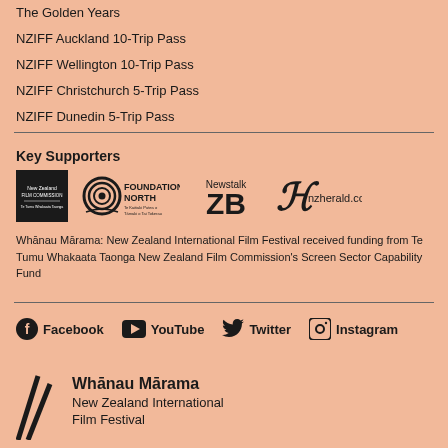The Golden Years
NZIFF Auckland 10-Trip Pass
NZIFF Wellington 10-Trip Pass
NZIFF Christchurch 5-Trip Pass
NZIFF Dunedin 5-Trip Pass
Key Supporters
[Figure (logo): Logos of key supporters: New Zealand Film Commission, Foundation North, Newstalk ZB, nzherald.co.nz]
Whānau Mārama: New Zealand International Film Festival received funding from Te Tumu Whakaata Taonga New Zealand Film Commission's Screen Sector Capability Fund
Facebook  YouTube  Twitter  Instagram
Whānau Mārama
New Zealand International
Film Festival